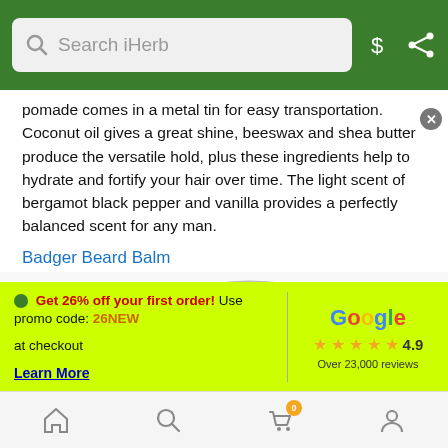Search iHerb
pomade comes in a metal tin for easy transportation. Coconut oil gives a great shine, beeswax and shea butter produce the versatile hold, plus these ingredients help to hydrate and fortify your hair over time. The light scent of bergamot black pepper and vanilla provides a perfectly balanced scent for any man.
Badger Beard Balm
[Figure (photo): Top-down view of a Badger brand tin (Badger Navigator Club) with red label, partially cropped]
Get 26% off your first order! Use promo code: 26NEW at checkout
Learn More
[Figure (logo): Google logo with 4.9 star rating and Over 23,000 reviews]
Home | Search | Cart (0) | Account